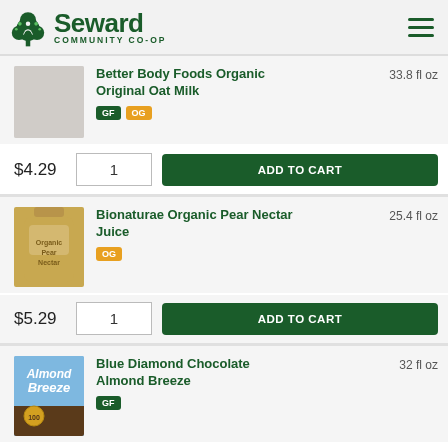Seward Community Co-op
Better Body Foods Organic Original Oat Milk — 33.8 fl oz — GF OG — $4.29
Bionaturae Organic Pear Nectar Juice — 25.4 fl oz — OG — $5.29
Blue Diamond Chocolate Almond Breeze — 32 fl oz — GF — $3.29